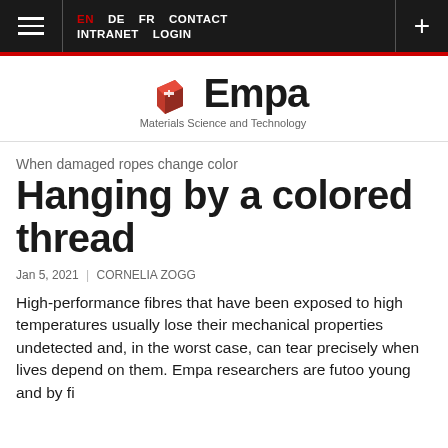EN DE FR CONTACT INTRANET LOGIN
[Figure (logo): Empa – Materials Science and Technology logo with red cube icon]
When damaged ropes change color
Hanging by a colored thread
Jan 5, 2021 | CORNELIA ZOGG
High-performance fibres that have been exposed to high temperatures usually lose their mechanical properties undetected and, in the worst case, can tear precisely when lives depend on them. Empa researchers are futoo young and by fi